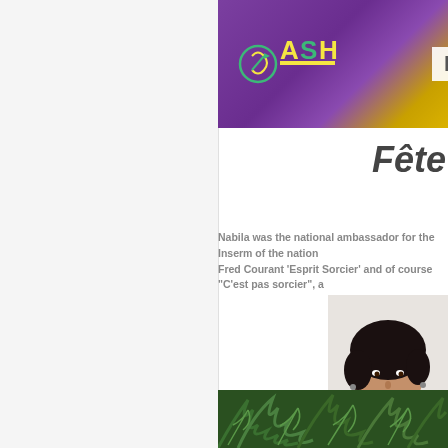[Figure (photo): Top banner photo showing a purple background with 'ASH' logo text visible and colorful fabric/flags. A partial 'H' letter is visible at the right edge.]
Fête
Nabila was the national ambassador for the Inserm of the nation... Fred Courant 'Esprit Sorcier' and of course "C'est pas sorcier", a
[Figure (photo): Portrait photo of a woman with curly dark hair wearing a black top, photographed against a light background.]
[Figure (photo): Partial bottom photo showing green fern/plant foliage.]